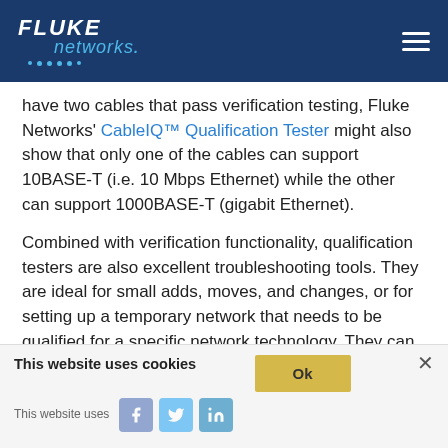Fluke Networks
have two cables that pass verification testing, Fluke Networks' CableIQ™ Qualification Tester might also show that only one of the cables can support 10BASE-T (i.e. 10 Mbps Ethernet) while the other can support 1000BASE-T (gigabit Ethernet).
Combined with verification functionality, qualification testers are also excellent troubleshooting tools. They are ideal for small adds, moves, and changes, or for setting up a temporary network that needs to be qualified for a specific network technology. They can also help in deciding whether an existing cabling plant needs to be upgraded to support a new application.